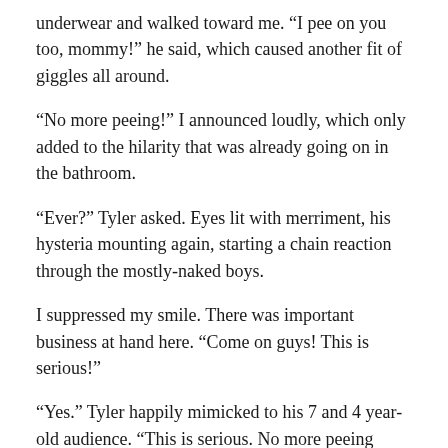underwear and walked toward me. “I pee on you too, mommy!” he said, which caused another fit of giggles all around.
“No more peeing!” I announced loudly, which only added to the hilarity that was already going on in the bathroom.
“Ever?” Tyler asked. Eyes lit with merriment, his hysteria mounting again, starting a chain reaction through the mostly-naked boys.
I suppressed my smile. There was important business at hand here. “Come on guys! This is serious!”
“Yes.” Tyler happily mimicked to his 7 and 4 year-old audience. “This is serious. No more peeing ever!”
I left them in the bathroom, doubled over with laughter.  I